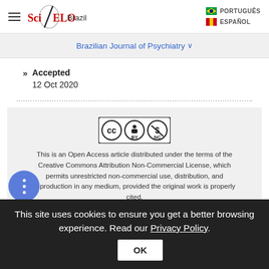SciELO Brazil | PORTUGUÊS | ESPAÑOL
Brazilian Journal of Psychiatry
» Accepted
12 Oct 2020
[Figure (logo): Creative Commons Attribution Non-Commercial (CC BY-NC) license badge]
This is an Open Access article distributed under the terms of the Creative Commons Attribution Non-Commercial License, which permits unrestricted non-commercial use, distribution, and reproduction in any medium, provided the original work is properly cited.
This site uses cookies to ensure you get a better browsing experience. Read our Privacy Policy.